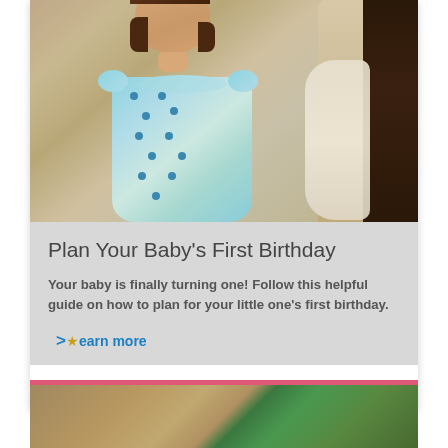[Figure (photo): Photo of a young child in a blue floral dress with an adult (mother) behind her, warm tones]
Plan Your Baby's First Birthday
Your baby is finally turning one! Follow this helpful guide on how to plan for your little one's first birthday.
learn more
[Figure (photo): Partial bottom photo with pink top border, showing green and tan tones]